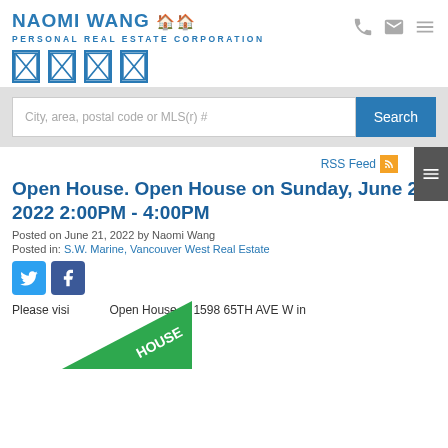NAOMI WANG 🏠🏠 PERSONAL REAL ESTATE CORPORATION
[Figure (screenshot): Social media icon placeholders (4 boxes with X pattern in blue outline)]
[Figure (screenshot): Search bar with placeholder text 'City, area, postal code or MLS(r) #' and blue Search button]
RSS Feed
Open House. Open House on Sunday, June 26, 2022 2:00PM - 4:00PM
Posted on June 21, 2022 by Naomi Wang
Posted in: S.W. Marine, Vancouver West Real Estate
[Figure (infographic): Green diagonal Open House ribbon badge overlay]
Please visit Open House at 1598 65TH AVE W in